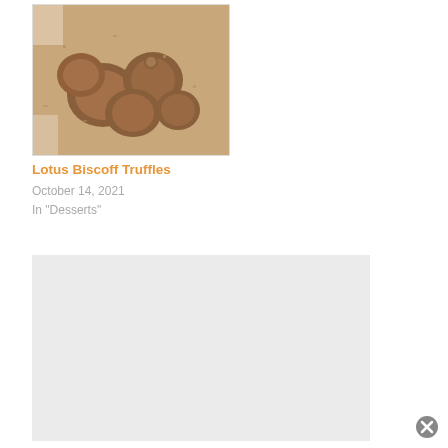[Figure (photo): Close-up photo of chocolate truffles dusted with cocoa powder]
Lotus Biscoff Truffles
October 14, 2021
In "Desserts"
[Figure (other): Light gray advertisement placeholder block]